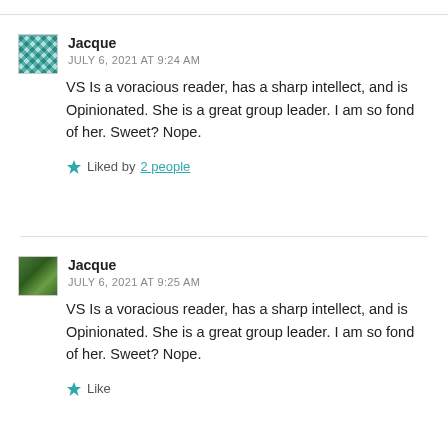Jacque
JULY 6, 2021 AT 9:24 AM
VS Is a voracious reader, has a sharp intellect, and is Opinionated. She is a great group leader. I am so fond of her. Sweet? Nope.
Liked by 2 people
Jacque
JULY 6, 2021 AT 9:25 AM
VS Is a voracious reader, has a sharp intellect, and is Opinionated. She is a great group leader. I am so fond of her. Sweet? Nope.
Like